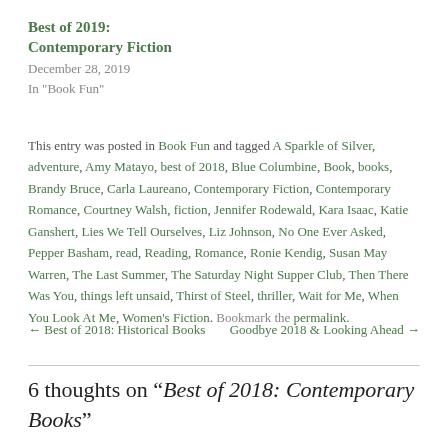Best of 2019:
Contemporary Fiction
December 28, 2019
In "Book Fun"
This entry was posted in Book Fun and tagged A Sparkle of Silver, adventure, Amy Matayo, best of 2018, Blue Columbine, Book, books, Brandy Bruce, Carla Laureano, Contemporary Fiction, Contemporary Romance, Courtney Walsh, fiction, Jennifer Rodewald, Kara Isaac, Katie Ganshert, Lies We Tell Ourselves, Liz Johnson, No One Ever Asked, Pepper Basham, read, Reading, Romance, Ronie Kendig, Susan May Warren, The Last Summer, The Saturday Night Supper Club, Then There Was You, things left unsaid, Thirst of Steel, thriller, Wait for Me, When You Look At Me, Women's Fiction. Bookmark the permalink.
← Best of 2018: Historical Books    Goodbye 2018 & Looking Ahead →
6 thoughts on “Best of 2018: Contemporary Books”